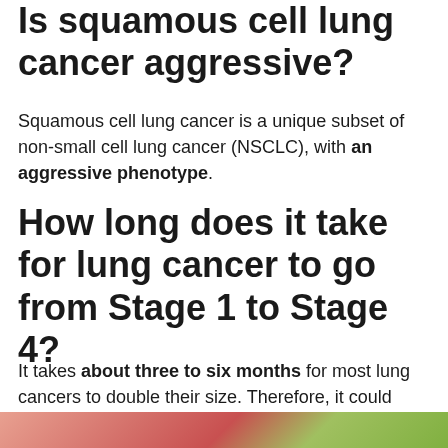Is squamous cell lung cancer aggressive?
Squamous cell lung cancer is a unique subset of non-small cell lung cancer (NSCLC), with an aggressive phenotype.
How long does it take for lung cancer to go from Stage 1 to Stage 4?
It takes about three to six months for most lung cancers to double their size. Therefore, it could take several years for a typical lung cancer to reach a size at which it could be diagnosed on a chest X-ray.
[Figure (photo): Partial view of lung tissue or medical illustration at the bottom of the page]